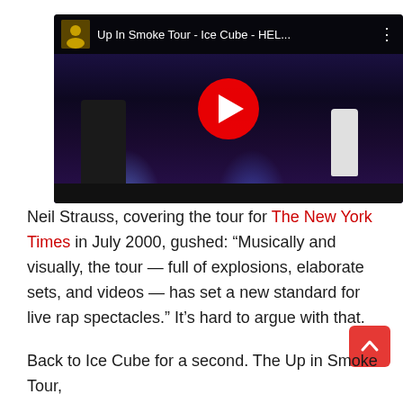[Figure (screenshot): YouTube video thumbnail showing 'Up In Smoke Tour - Ice Cube - HEL...' with two performers on a darkly lit concert stage and a red play button in the center.]
Neil Strauss, covering the tour for The New York Times in July 2000, gushed: “Musically and visually, the tour — full of explosions, elaborate sets, and videos — has set a new standard for live rap spectacles.” It’s hard to argue with that.
Back to Ice Cube for a second. The Up in Smoke Tour,